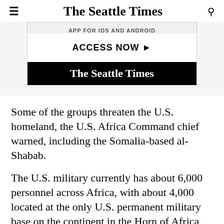The Seattle Times
[Figure (other): Advertisement box with text 'APP FOR IOS AND ANDROID' and 'ACCESS NOW ▶' button, with The Seattle Times logo in black footer]
Some of the groups threaten the U.S. homeland, the U.S. Africa Command chief warned, including the Somalia-based al-Shabab.
The U.S. military currently has about 6,000 personnel across Africa, with about 4,000 located at the only U.S. permanent military base on the continent in the Horn of Africa nation of Djibouti — a short distance from China's first overseas military base. Another nearly 1,000 U.S. personnel are in the